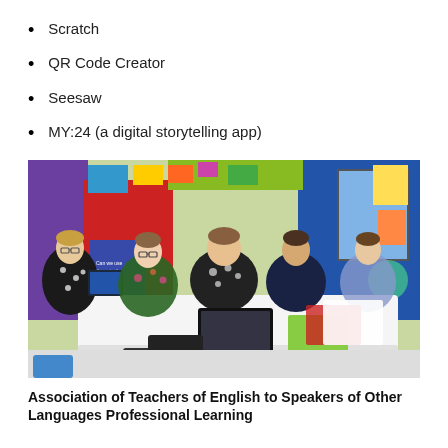Scratch
QR Code Creator
Seesaw
MY:24 (a digital storytelling app)
[Figure (photo): Five women seated around a white table in a colourful classroom, one holding a tablet, a laptop open on the table, papers and folders visible, colourful wall displays in the background.]
Association of Teachers of English to Speakers of Other Languages Professional Learning